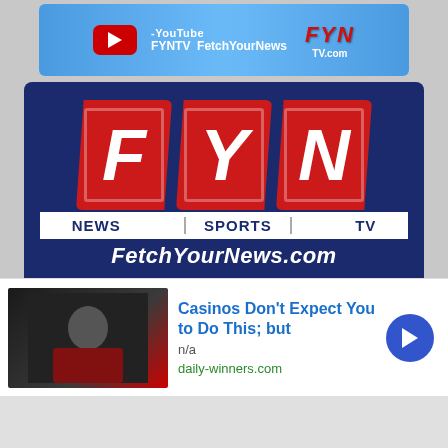[Figure (logo): YouTube FYNTV FetchYourNews banner with red YouTube play button, FYN logo in red italic text, TV.com in white]
[Figure (infographic): FYN News Sports TV FetchYourNews.com promotional banner on dark navy blue background with large FYN logo, tagline 'We're here to serve the needs of the community', subscription call to action text]
[Figure (infographic): Advertisement: 'Casinos Don't Expect You to Do This; but' from daily-winners.com, showing a person in a red and black jacket, with blue arrow button]